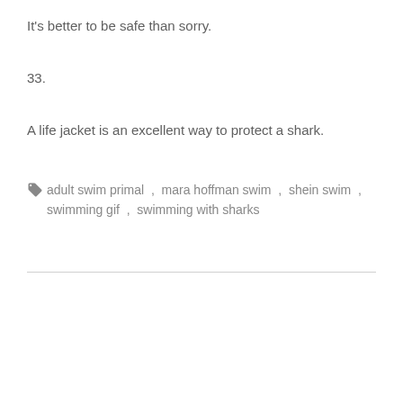It's better to be safe than sorry.
33.
A life jacket is an excellent way to protect a shark.
🏷 adult swim primal , mara hoffman swim , shein swim , swimming gif , swimming with sharks